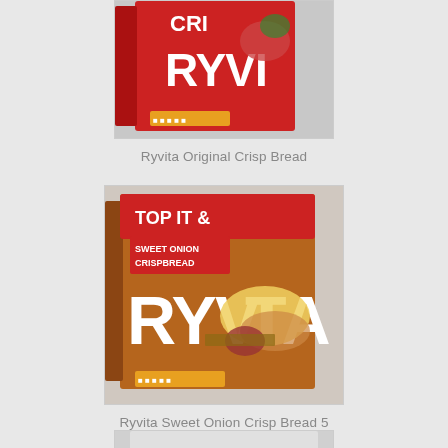[Figure (photo): Ryvita Original Crisp Bread box (red packaging) partially visible at top of page]
Ryvita Original Crisp Bread
[Figure (photo): Ryvita Sweet Onion Crispbread box (brown/orange packaging) with food items shown on crackers]
Ryvita Sweet Onion Crisp Bread 5 Pack
[Figure (photo): Third Ryvita product box partially visible at bottom of page]